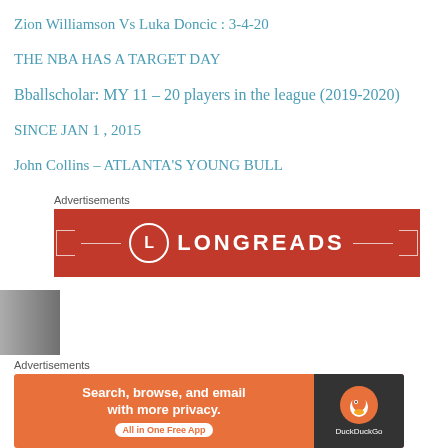Zion Williamson Vs Luka Doncic : 3-4-20
THE NBA HAS A TARGET DAY
Bballscholar: MY 11 – 20 players in the league (2019-2020)
SINCE JAN 1 , 2015
John Collins – ATLANTA'S YOUNG BULL
Advertisements
[Figure (screenshot): Longreads advertisement banner with red background, circular L logo, and LONGREADS text]
Advertisements
[Figure (screenshot): DuckDuckGo advertisement: Search, browse, and email with more privacy. All in One Free App. DuckDuckGo logo on dark background.]